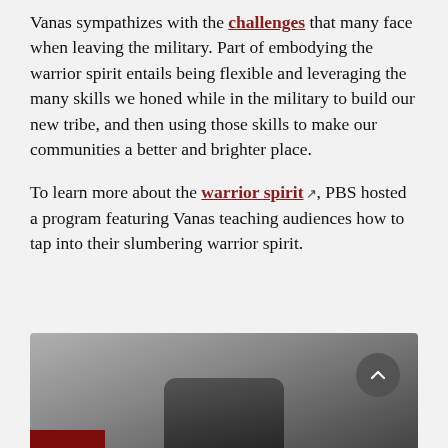Vanas sympathizes with the challenges that many face when leaving the military. Part of embodying the warrior spirit entails being flexible and leveraging the many skills we honed while in the military to build our new tribe, and then using those skills to make our communities a better and brighter place.
To learn more about the warrior spirit [external link], PBS hosted a program featuring Vanas teaching audiences how to tap into their slumbering warrior spirit.
[Figure (photo): Partially visible image showing what appears to be a dark electronic device or remote control, with a circular scroll-to-top button visible. A dark red bar appears at the bottom left corner.]